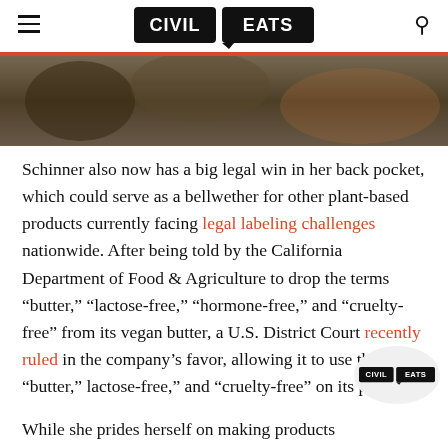CIVIL EATS
[Figure (photo): Partial photo strip showing a kitchen or food preparation scene with blurred background]
Schinner also now has a big legal win in her back pocket, which could serve as a bellwether for other plant-based products currently facing legal labeling challenges nationwide. After being told by the California Department of Food & Agriculture to drop the terms “butter,” “lactose-free,” “hormone-free,” and “cruelty-free” from its vegan butter, a U.S. District Court recently ruled in the company’s favor, allowing it to use the term “butter,” lactose-free,” and “cruelty-free” on its products.
While she prides herself on making products